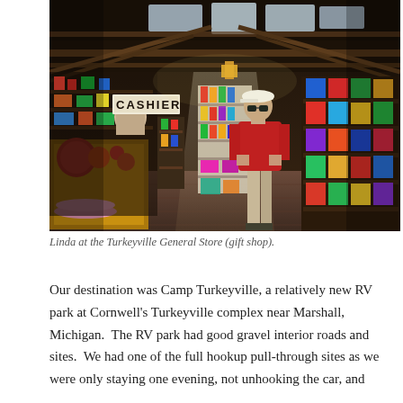[Figure (photo): Interior of the Turkeyville General Store (gift shop) showing shelves with merchandise, a cashier sign near the entrance, exposed wooden beam ceiling with skylights, and a person in a red sweatshirt and white cap standing in the center aisle.]
Linda at the Turkeyville General Store (gift shop).
Our destination was Camp Turkeyville, a relatively new RV park at Cornwell's Turkeyville complex near Marshall, Michigan.  The RV park had good gravel interior roads and sites.  We had one of the full hookup pull-through sites as we were only staying one evening, not unhooking the car, and